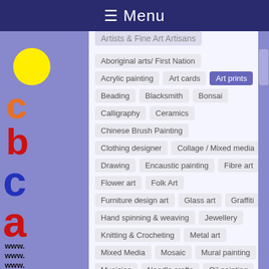☰ Menu
Artists & Fine Art Artisans
Aboriginal arts/ First Nation
Acrylic painting
Art cards
Art prints
Beading
Blacksmith
Bonsai
Calligraphy
Ceramics
Chinese Brush Painting
Clothing designer
Collage / Mixed media
Drawing
Encaustic painting
Fibre art
Flower art
Folk Art
Furniture design art
Glass art
Graffiti
Hand spinning & weaving
Jewellery
Knitting & Crocheting
Metal art
Mixed Media
Mosaic
Mural painting
Musician
Needle crafts
Oil painting